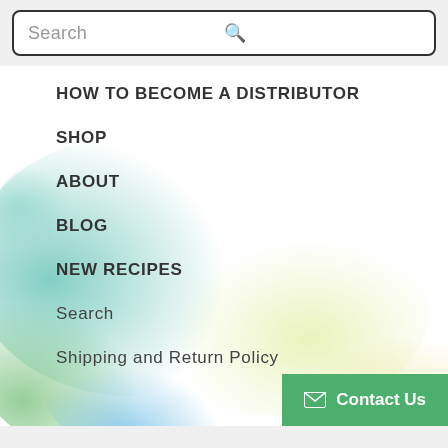Search
HOW TO BECOME A DISTRIBUTOR
[Figure (illustration): Abstract colorful smoke cloud background with teal, green, and yellow/gold tones fading into white on the right side]
SHOP
ABOUT
BLOG
NEW RECIPES
Search
Shipping and Return Policy
Contact Us